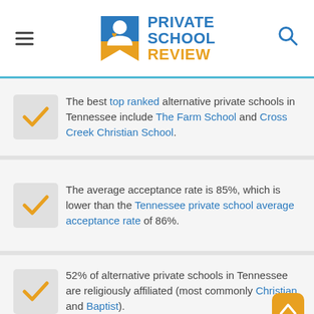Private School Review
The best top ranked alternative private schools in Tennessee include The Farm School and Cross Creek Christian School.
The average acceptance rate is 85%, which is lower than the Tennessee private school average acceptance rate of 86%.
52% of alternative private schools in Tennessee are religiously affiliated (most commonly Christian and Baptist).